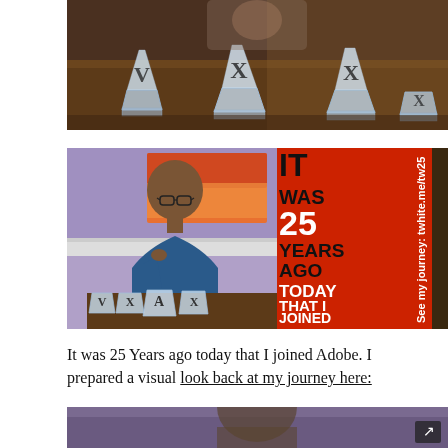[Figure (photo): Photo of crystal awards with Roman numerals X and V sitting on a dark wooden table, person visible in background]
[Figure (photo): Composite image: man in blue shirt sitting at desk with crystal awards, overlaid with red banner text 'IT WAS 25 YEARS AGO TODAY THAT I JOINED ADOBE!' and rotated text on right 'See my journey: twhite.me/tw25']
It was 25 Years ago today that I joined Adobe. I prepared a visual look back at my journey here:
[Figure (photo): Partial bottom photo showing person, partially cut off, with an external link icon in the bottom right corner]